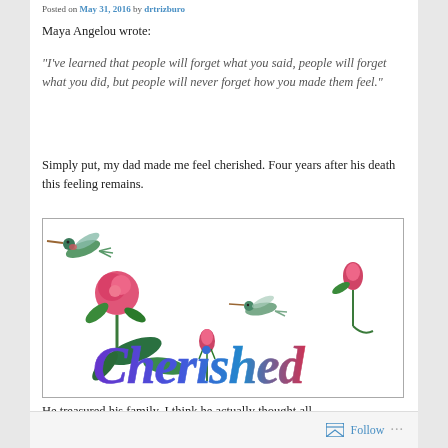Posted on May 31, 2016 by drtrizburo
Maya Angelou wrote:
“I’ve learned that people will forget what you said, people will forget what you did, but people will never forget how you made them feel.”
Simply put, my dad made me feel cherished.  Four years after his death this feeling remains.
[Figure (illustration): Decorative illustration showing hummingbirds and roses with the word 'Cherished' written in colorful calligraphy script (purple to red gradient), surrounded by pink roses, rose buds, and two hummingbirds.]
He treasured his family.  I think he actually thought all
Follow ...